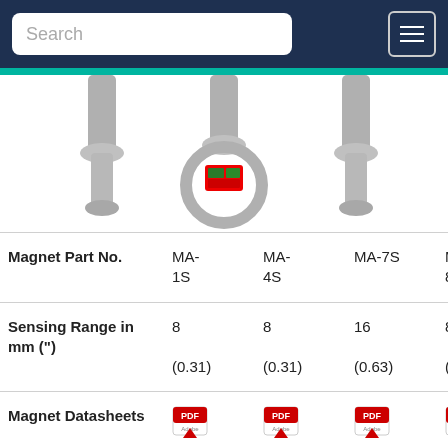Search [navigation bar]
[Figure (photo): Three stainless steel temperature sensor probes / magnets shown from below; center one has a ring mount with visible electronics (red and green circuit board).]
|  | MA-1S | MA-4S | MA-7S | MA-8S |
| --- | --- | --- | --- | --- |
| Magnet Part No. | MA-1S | MA-4S | MA-7S | MA-8S |
| Sensing Range in mm (") | 8 (0.31) | 8 (0.31) | 16 (0.63) | 8 (0.31) |
| Magnet Datasheets | [PDF] | [PDF] | [PDF] | [PDF] |